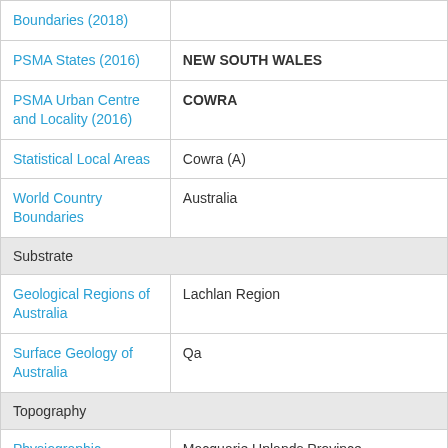| Category | Value |
| --- | --- |
| Boundaries (2018) |  |
| PSMA States (2016) | NEW SOUTH WALES |
| PSMA Urban Centre and Locality (2016) | COWRA |
| Statistical Local Areas | Cowra (A) |
| World Country Boundaries | Australia |
| Substrate |  |
| Geological Regions of Australia | Lachlan Region |
| Surface Geology of Australia | Qa |
| Topography |  |
| Physiographic Provinces of Australia | Macquarie Uplands Province |
| Physiographic Regions 2011 | Mitchell Slopes |